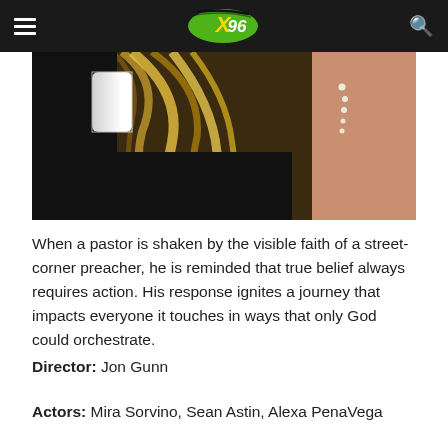X96 (logo) — navigation header
[Figure (photo): Close-up photo of a person with blonde hair, wearing a black jacket, pearl earring visible, taken from side/back angle]
When a pastor is shaken by the visible faith of a street-corner preacher, he is reminded that true belief always requires action. His response ignites a journey that impacts everyone it touches in ways that only God could orchestrate.
Director: Jon Gunn
Actors: Mira Sorvino, Sean Astin, Alexa PenaVega